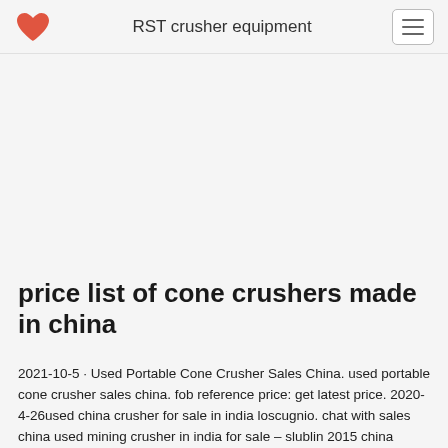RST crusher equipment
price list of cone crushers made in china
2021-10-5 · Used Portable Cone Crusher Sales China. used portable cone crusher sales china. fob reference price: get latest price. 2020-4-26used china crusher for sale in india loscugnio. chat with sales china used mining crusher in india for sale – slublin 2015 china